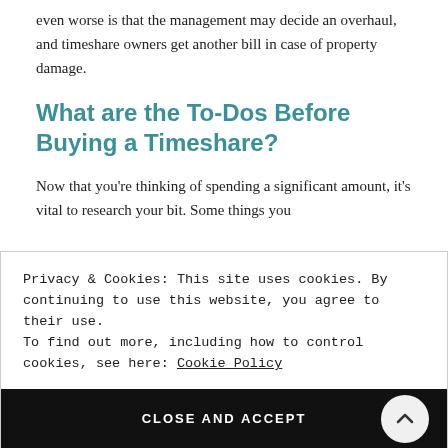even worse is that the management may decide an overhaul, and timeshare owners get another bill in case of property damage.
What are the To-Dos Before Buying a Timeshare?
Now that you're thinking of spending a significant amount, it's vital to research your bit. Some things you
Privacy & Cookies: This site uses cookies. By continuing to use this website, you agree to their use.
To find out more, including how to control cookies, see here: Cookie Policy
CLOSE AND ACCEPT